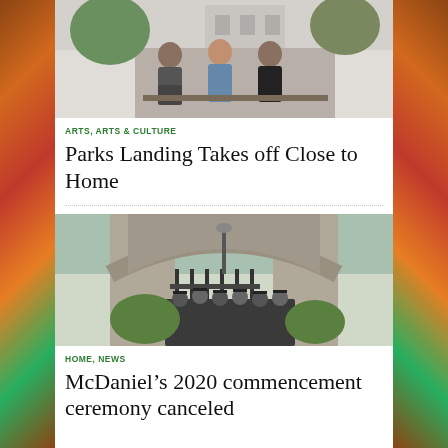[Figure (photo): Three young men sitting on a bench outside a building, talking]
ARTS, ARTS & CULTURE
Parks Landing Takes off Close to Home
[Figure (photo): Graduates in caps and gowns walking through a stone archway with iron gates]
HOME, NEWS
McDaniel's 2020 commencement ceremony canceled